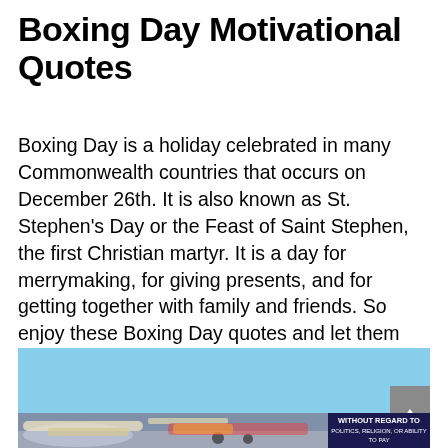Boxing Day Motivational Quotes
Boxing Day is a holiday celebrated in many Commonwealth countries that occurs on December 26th. It is also known as St. Stephen’s Day or the Feast of Saint Stephen, the first Christian martyr. It is a day for merrymaking, for giving presents, and for getting together with family and friends. So enjoy these Boxing Day quotes and let them motivate you to be the best you can be.
[Figure (other): A light blue banner graphic with white italic bold text reading “God is one; there are”, with a gray arrow/scroll button at the right side, and below it a photo strip showing cargo aircraft being loaded and a dark blue panel with white text reading WITHOUT REGARD TO (partially visible smaller text)]